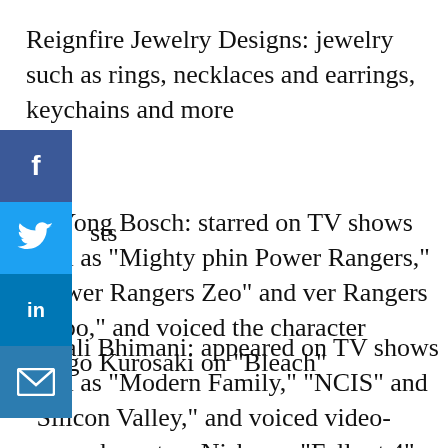Reignfire Jewelry Designs: jewelry such as rings, necklaces and earrings, keychains and more
sts
ny Yong Bosch: starred on TV shows such as "Mighty phin Power Rangers," "Power Rangers Zeo" and ver Rangers Turbo," and voiced the character Ichigo Kurosaki on "Bleach"
Anjali Bhimani: appeared on TV shows such as "Modern Family," "NCIS" and "Silicon Valley," and voiced video-game characters Nisha on "Fallout 4" and Symmetra in "Overwatch"
Tara Jayne Sands: voiced characters on TV shows such as